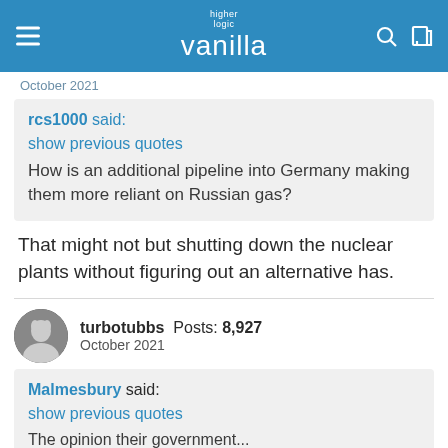higher logic vanilla
October 2021
rcs1000 said:
show previous quotes
How is an additional pipeline into Germany making them more reliant on Russian gas?
That might not but shutting down the nuclear plants without figuring out an alternative has.
turbotubbs  Posts: 8,927
October 2021
Malmesbury said:
show previous quotes
The opinion their government...